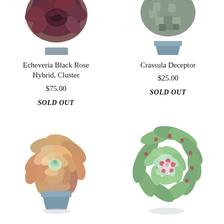[Figure (photo): Top portion of Echeveria Black Rose Hybrid Cluster succulent plant in a geometric pot, partially cropped at top]
[Figure (photo): Top portion of Crassula Deceptor succulent in a blue-gray geometric pot, partially cropped at top]
Echeveria Black Rose Hybrid, Cluster
$75.00
SOLD OUT
Crassula Deceptor
$25.00
SOLD OUT
[Figure (photo): Orange and pale green rosette succulent in a blue-gray geometric pot]
[Figure (photo): Green succulent with pink-spotted leaves in a rosette shape, no pot visible]